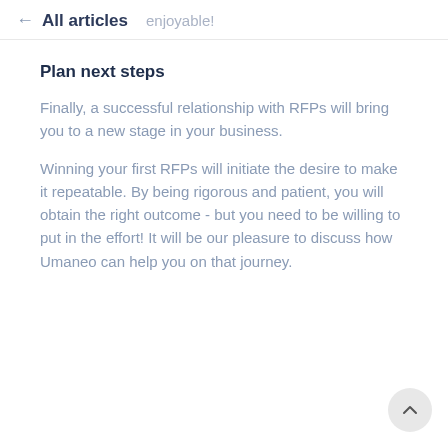← All articles  enjoyable!
Plan next steps
Finally, a successful relationship with RFPs will bring you to a new stage in your business.
Winning your first RFPs will initiate the desire to make it repeatable. By being rigorous and patient, you will obtain the right outcome - but you need to be willing to put in the effort! It will be our pleasure to discuss how Umaneo can help you on that journey.